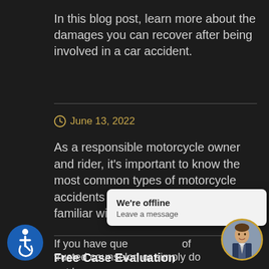In this blog post, learn more about the damages you can recover after being involved in a car accident.
June 13, 2022
As a responsible motorcycle owner and rider, it's important to know the most common types of motorcycle accidents in San Diego and be familiar with how they can be avoided.
Free Case Evaluation
If you have que... of trusted counselor, or simply do not know
[Figure (other): Offline chat popup with text 'We're offline' and 'Leave a message']
[Figure (other): Blue circular accessibility icon with wheelchair symbol]
[Figure (photo): Circular avatar photo of a man in a suit with golden border]